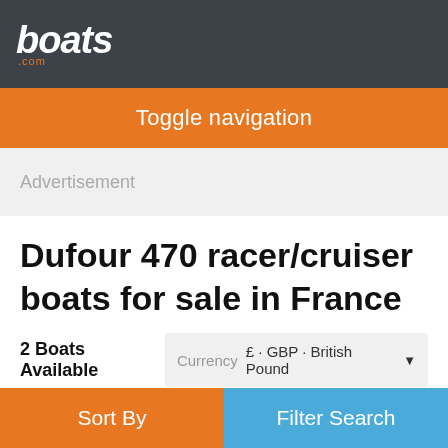boats.com
Toggle navigation
Advertisement
Dufour 470 racer/cruiser boats for sale in France
2 Boats Available
Currency £ - GBP - British Pound
[Figure (photo): Partial view of a boat hull, blue/grey colored]
Sort By | Filter Search